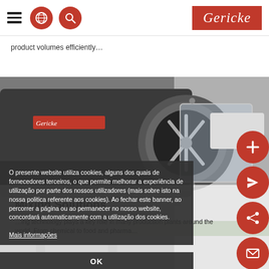Gericke
product volumes efficiently…
[Figure (photo): Gericke industrial mixing/milling machine being operated by a person in a lab coat. The machine is metallic with the Gericke logo visible.]
O presente website utiliza cookies, alguns dos quais de fornecedores terceiros, o que permite melhorar a experiência de utilização por parte dos nossos utilizadores (mais sobre isto na nossa politica referente aos cookies). Ao fechar este banner, ao percorrer a página ou ao permanecer no nosso website, concordará automaticamente com a utilização dos cookies.
Mais informações
OK
Mixing Solutions
…ing technology plays a key role in many production plants around the world. From chemical to food and pharma…